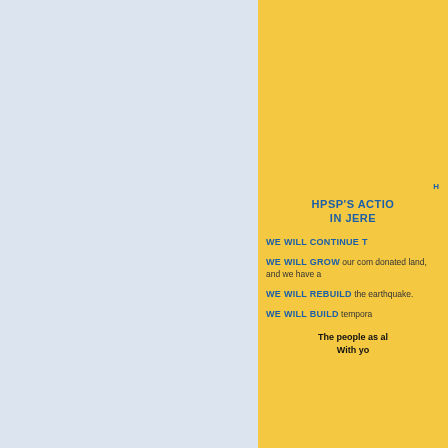[Figure (photo): People working in a lush green agricultural field, bending over crops, appears to be community farming or gardening activity in Haiti]
H
HPSP'S ACTION IN JERE
WE WILL CONTINUE T
WE WILL GROW our com donated land, and we have a
WE WILL REBUILD the earthquake.
WE WILL BUILD tempora
The people as al
With you